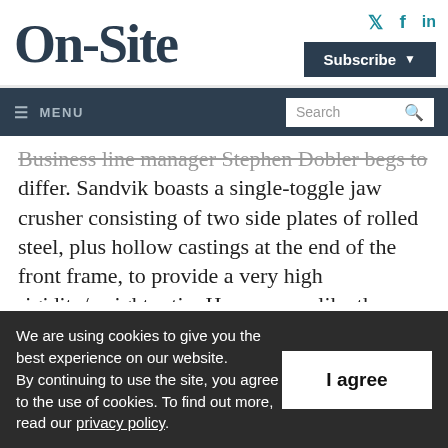On-Site
Business line manager Stephen Dobler begs to differ. Sandvik boasts a single-toggle jaw crusher consisting of two side plates of rolled steel, plus hollow castings at the end of the front frame, to provide a very high rigidity/weight ratio. However, unlike the
We are using cookies to give you the best experience on our website.
By continuing to use the site, you agree to the use of cookies. To find out more, read our privacy policy.